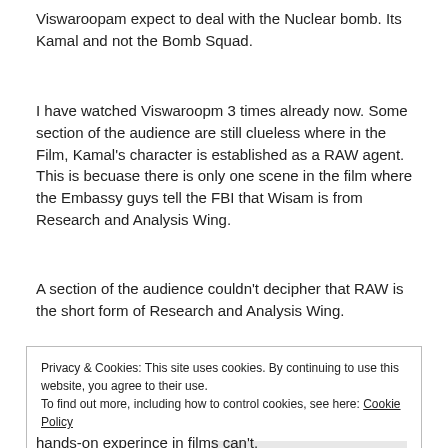Viswaroopam expect to deal with the Nuclear bomb. Its Kamal and not the Bomb Squad.
I have watched Viswaroopm 3 times already now. Some section of the audience are still clueless where in the Film, Kamal's character is established as a RAW agent.
This is becuase there is only one scene in the film where the Embassy guys tell the FBI that Wisam is from Research and Analysis Wing.
A section of the audience couldn't decipher that RAW is the short form of Research and Analysis Wing.
Privacy & Cookies: This site uses cookies. By continuing to use this website, you agree to their use.
To find out more, including how to control cookies, see here: Cookie Policy
Close and accept
hands-on experince in films can't.